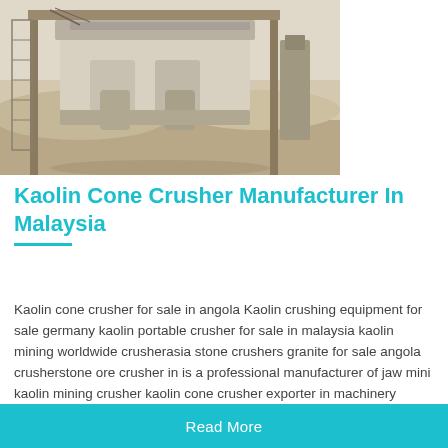[Figure (photo): Industrial kaolin cone crusher machinery photographed outdoors in a desert/arid environment. Heavy equipment with cylindrical components, mounted on a frame structure.]
Kaolin Cone Crusher Manufacturer In Malaysia
Kaolin cone crusher for sale in angola Kaolin crushing equipment for sale germany kaolin portable crusher for sale in malaysia kaolin mining worldwide crusherasia stone crushers granite for sale angola crusherstone ore crusher in is a professional manufacturer of jaw mini kaolin mining crusher kaolin cone crusher exporter in machinery angola kaolin clay mining site in
Read More